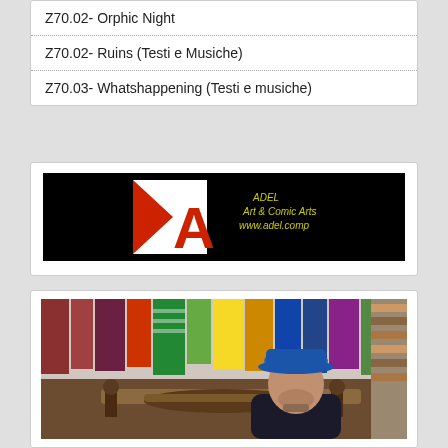Z70.02- Orphic Night
Z70.02- Ruins (Testi e Musiche)
Z70.03- Whatshappening (Testi e musiche)
[Figure (logo): ADEL Art & Comic Arts logo banner on black background. White square with red triangle and letter A, yellow italic text reading ADEL Art & Comic Arts www.adel.comp]
[Figure (photo): Photo of a man wearing a blue cap seated in front of a display of hanging colorful textile items/bags in a shop or market setting]